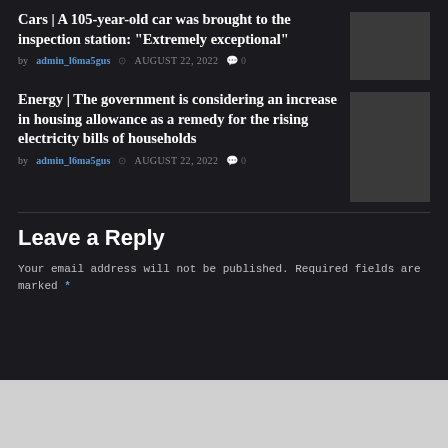Cars | A 105-year-old car was brought to the inspection station: "Extremely exceptional"
by admin_l6ma5gus  AUGUST 22, 2022  0
[Figure (photo): Thumbnail image for Cars article]
Energy | The government is considering an increase in housing allowance as a remedy for the rising electricity bills of households
by admin_l6ma5gus  AUGUST 22, 2022  0
[Figure (photo): Thumbnail image for Energy article]
Leave a Reply
Your email address will not be published. Required fields are marked *